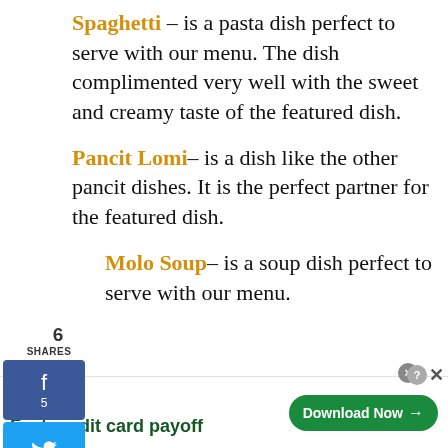Spaghetti – is a pasta dish perfect to serve with our menu. The dish complimented very well with the sweet and creamy taste of the featured dish.
Pancit Lomi – is a dish like the other pancit dishes. It is the perfect partner for the featured dish.
Molo Soup – is a soup dish perfect to serve with our menu.
[Figure (screenshot): Social sharing sidebar with Facebook (5 shares), Twitter, Pinterest (1 share) buttons, and SHARES counter showing 6]
[Figure (screenshot): Tally app advertisement banner: Fast credit card payoff with Download Now button]